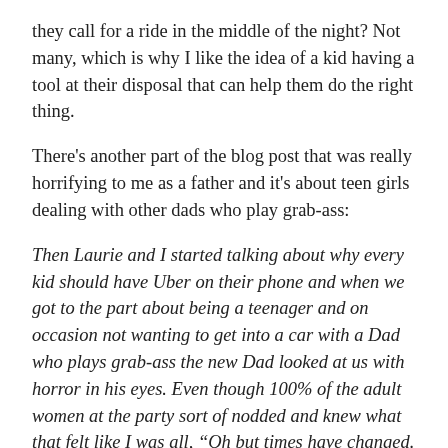they call for a ride in the middle of the night? Not many, which is why I like the idea of a kid having a tool at their disposal that can help them do the right thing.
There's another part of the blog post that was really horrifying to me as a father and it's about teen girls dealing with other dads who play grab-ass:
Then Laurie and I started talking about why every kid should have Uber on their phone and when we got to the part about being a teenager and on occasion not wanting to get into a car with a Dad who plays grab-ass the new Dad looked at us with horror in his eyes. Even though 100% of the adult women at the party sort of nodded and knew what that felt like I was all, “Oh but times have changed. I’m sure it will never be an issue.”
For the record it's my opinion that while having a service like Uber to get my daughter out of harm's way at that moment would be a good thing, it would also be of utmost